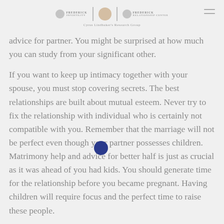Frederick Infertility / Frederick Relationship Center — Cyrus Lindbaker's Research Group
advice for partner. You might be surprised at how much you can study from your significant other.
If you want to keep up intimacy together with your spouse, you must stop covering secrets. The best relationships are built about mutual esteem. Never try to fix the relationship with individual who is certainly not compatible with you. Remember that the marriage will not be perfect even though your partner possesses children. Matrimony help and advice for better half is just as crucial as it was ahead of you had kids. You should generate time for the relationship before you became pregnant. Having children will require focus and the perfect time to raise these people.
Another part of marriage help for better half is to not